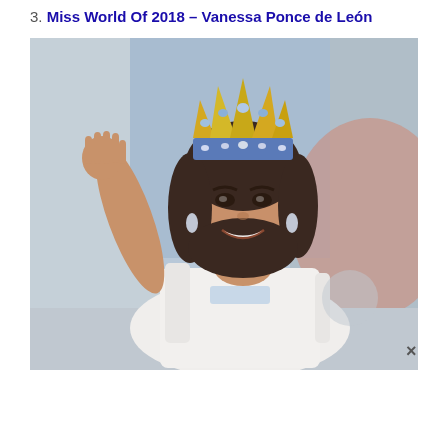3. Miss World Of 2018 – Vanessa Ponce de León
[Figure (photo): Photo of Vanessa Ponce de León, Miss World 2018, wearing a jeweled crown and white off-shoulder gown, waving and smiling at the camera against a blurred colorful background.]
×